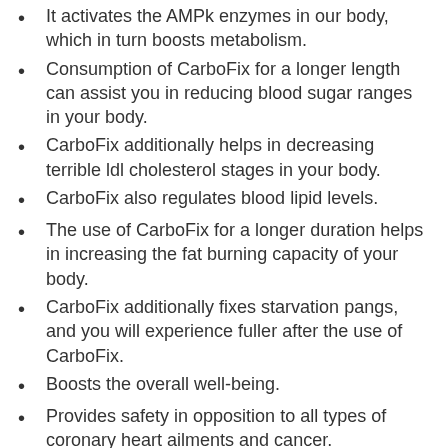It activates the AMPk enzymes in our body, which in turn boosts metabolism.
Consumption of CarboFix for a longer length can assist you in reducing blood sugar ranges in your body.
CarboFix additionally helps in decreasing terrible ldl cholesterol stages in your body.
CarboFix also regulates blood lipid levels.
The use of CarboFix for a longer duration helps in increasing the fat burning capacity of your body.
CarboFix additionally fixes starvation pangs, and you will experience fuller after the use of CarboFix.
Boosts the overall well-being.
Provides safety in opposition to all types of coronary heart ailments and cancer.
Boosts overall energy.
Prevents rebound weight gain.